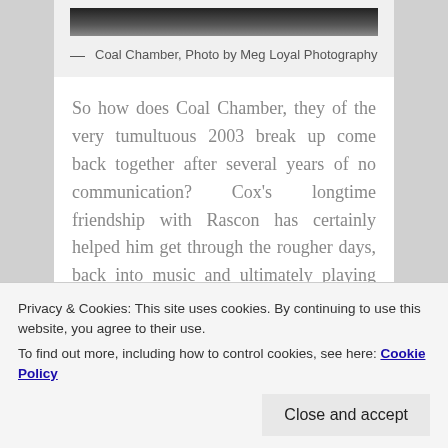[Figure (photo): Black and white photo of Coal Chamber band, cropped at top of page]
— Coal Chamber, Photo by Meg Loyal Photography
So how does Coal Chamber, they of the very tumultuous 2003 break up come back together after several years of no communication? Cox's longtime friendship with Rascon has certainly helped him get through the rougher days, back into music and ultimately playing with Coal Chamber again. "Me and Meegs we're best
Privacy & Cookies: This site uses cookies. By continuing to use this website, you agree to their use.
To find out more, including how to control cookies, see here: Cookie Policy
cool if we tried to do this.' So Meegs